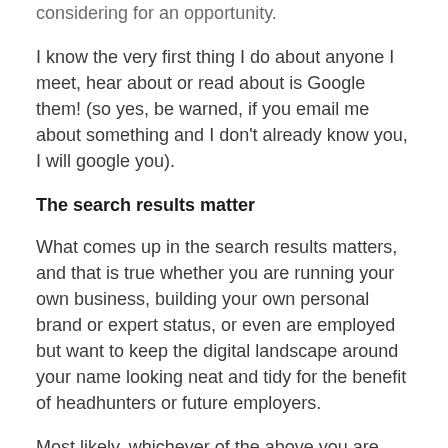considering for an opportunity.
I know the very first thing I do about anyone I meet, hear about or read about is Google them! (so yes, be warned, if you email me about something and I don't already know you, I will google you).
The search results matter
What comes up in the search results matters, and that is true whether you are running your own business, building your own personal brand or expert status, or even are employed but want to keep the digital landscape around your name looking neat and tidy for the benefit of headhunters or future employers.
Most likely, whichever of the above you are, you would like it if something current, impressive and positive appears for searches on your name